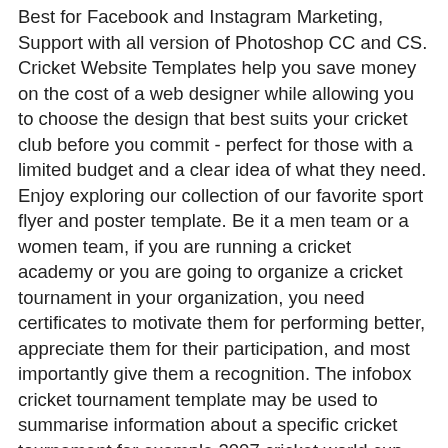Best for Facebook and Instagram Marketing, Support with all version of Photoshop CC and CS. Cricket Website Templates help you save money on the cost of a web designer while allowing you to choose the design that best suits your cricket club before you commit - perfect for those with a limited budget and a clear idea of what they need. Enjoy exploring our collection of our favorite sport flyer and poster template. Be it a men team or a women team, if you are running a cricket academy or you are going to organize a cricket tournament in your organization, you need certificates to motivate them for performing better, appreciate them for their participation, and most importantly give them a recognition. The infobox cricket tournament template may be used to summarise information about a specific cricket tournament for example 2007 cricket world cup. Minimal PowerPoint Presentation Title Slide Concept. tournament. 13.Women Soccer Flyer Template. Vector EPS 13. Web